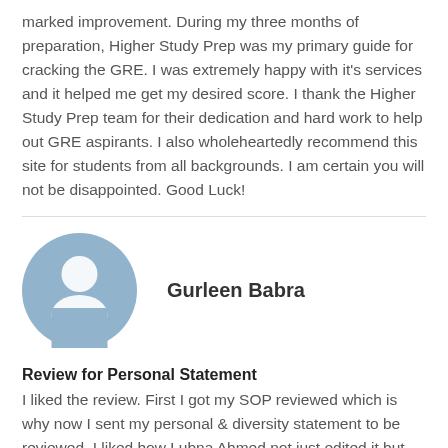marked improvement. During my three months of preparation, Higher Study Prep was my primary guide for cracking the GRE. I was extremely happy with it's services and it helped me get my desired score. I thank the Higher Study Prep team for their dedication and hard work to help out GRE aspirants. I also wholeheartedly recommend this site for students from all backgrounds. I am certain you will not be disappointed. Good Luck!
[Figure (illustration): Generic user avatar icon — a blue circle with a white silhouette of a person (head and shoulders)]
Gurleen Babra
Review for Personal Statement
I liked the review. First I got my SOP reviewed which is why now I sent my personal & diversity statement to be reviewed. I liked how Lubna Ahmed not just edited it but also provided me with better sentences on how I can improve the quality of my paper. I like